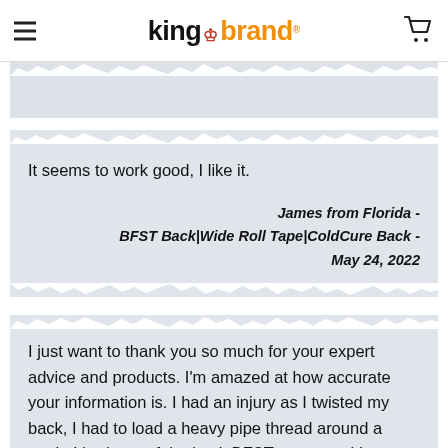king brand
It seems to work good, I like it.
James from Florida - BFST Back|Wide Roll Tape|ColdCure Back - May 24, 2022
I just want to thank you so much for your expert advice and products. I'm amazed at how accurate your information is. I had an injury as I twisted my back, I had to load a heavy pipe thread around a truck. I had one of the back BFST wraps and I put that on the hip and it helped tremendously last